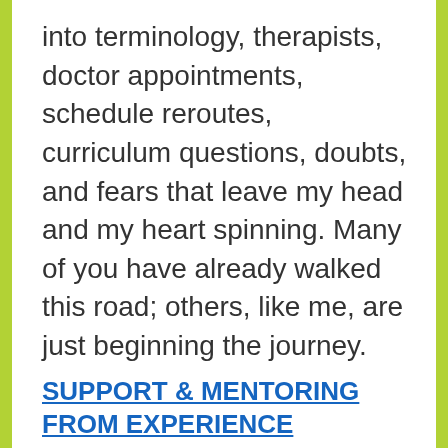into terminology, therapists, doctor appointments, schedule reroutes, curriculum questions, doubts, and fears that leave my head and my heart spinning. Many of you have already walked this road; others, like me, are just beginning the journey.
SUPPORT & MENTORING FROM EXPERIENCE